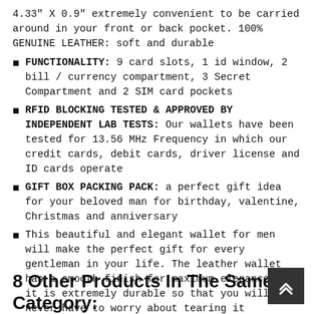4.33" X 0.9" extremely convenient to be carried around in your front or back pocket. 100% GENUINE LEATHER: soft and durable
FUNCTIONALITY: 9 card slots, 1 id window, 2 bill / currency compartment, 3 Secret Compartment and 2 SIM card pockets
RFID BLOCKING TESTED & APPROVED BY INDEPENDENT LAB TESTS: Our wallets have been tested for 13.56 MHz Frequency in which our credit cards, debit cards, driver license and ID cards operate
GIFT BOX PACKING PACK: a perfect gift idea for your beloved man for birthday, valentine, Christmas and anniversary
This beautiful and elegant wallet for men will make the perfect gift for every gentleman in your life. The leather wallet has a smooth finish for maximum elegance and it is extremely durable so that you will never have to worry about tearing it
8 Other Products In The Same Category: